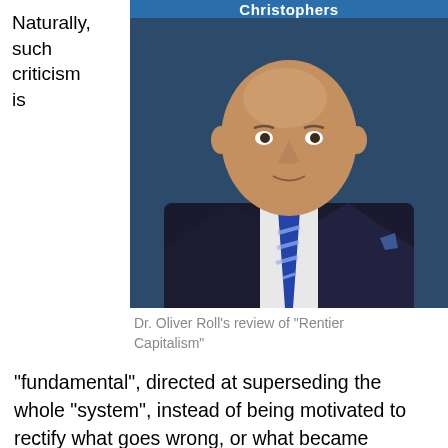Christophers
Naturally, such criticism is
[Figure (photo): Professional headshot of Dr. Oliver Roll, a bald man in a dark suit with a blue striped tie, against a dark blue background]
Dr. Oliver Roll's review of "Rentier Capitalism"
"fundamental", directed at superseding the whole "system", instead of being motivated to rectify what goes wrong, or what became problematic, ossified, or resulted in unintended consequences. If I want to identify problem areas and understand where our economic system fails - whatever 'failing' means -, and